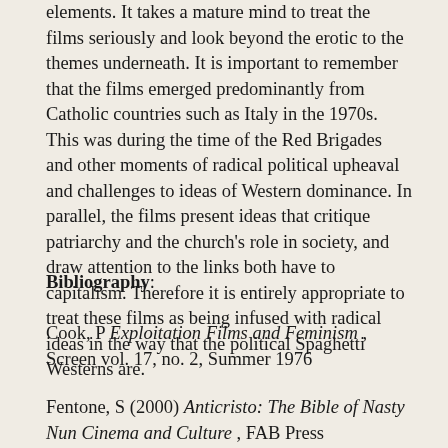elements. It takes a mature mind to treat the films seriously and look beyond the erotic to the themes underneath. It is important to remember that the films emerged predominantly from Catholic countries such as Italy in the 1970s. This was during the time of the Red Brigades and other moments of radical political upheaval and challenges to ideas of Western dominance. In parallel, the films present ideas that critique patriarchy and the church's role in society, and draw attention to the links both have to capitalism. Therefore it is entirely appropriate to treat these films as being infused with radical ideas in the way that the political Spaghetti Westerns are.
Bibliography:
Cook, P Exploitation Films and Feminism , Screen vol. 17, no. 2, Summer 1976
Fentone, S (2000) Anticristo: The Bible of Nasty Nun Cinema and Culture , FAB Press